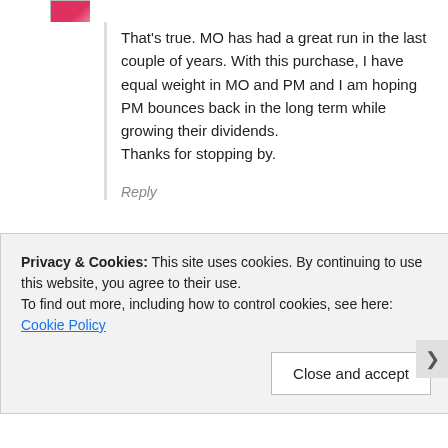[Figure (photo): Small avatar image partially visible at top left, pink/red tones]
That's true. MO has had a great run in the last couple of years. With this purchase, I have equal weight in MO and PM and I am hoping PM bounces back in the long term while growing their dividends.
Thanks for stopping by.
Reply
[Figure (photo): Avatar image of a character with green sword (Yoda-like) for user jerryalez]
jerryalez
March 7, 2015 at 3:08 PM
Loving this purchase, I nearly opened a position this week but looking forward PM could be my next purchase. I think it would be a
Privacy & Cookies: This site uses cookies. By continuing to use this website, you agree to their use.
To find out more, including how to control cookies, see here: Cookie Policy
Close and accept